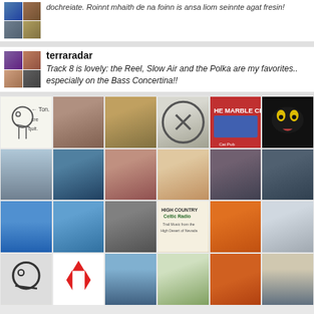dochreiate. Roinnt mhaith de na foinn is ansa liom seinnte agat fresin!
terraradar
Track 8 is lovely: the Reel, Slow Air and the Polka are my favorites.. especially on the Bass Concertina!!
[Figure (photo): Grid of 18 user avatar/profile images arranged in 3 rows of 6, including photos of people, landscapes, album covers, a cat, a sketch, a Mitsubishi logo, and other images]
[Figure (photo): Partial row of 6 more avatar images at bottom]